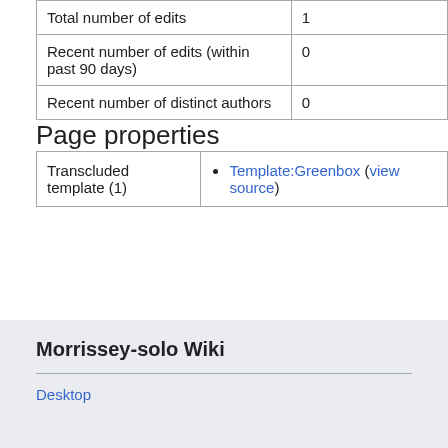| Total number of edits | 1 |
| Recent number of edits (within past 90 days) | 0 |
| Recent number of distinct authors | 0 |
Page properties
| Transcluded template (1) | Template:Greenbox (view source) |
Morrissey-solo Wiki
Desktop